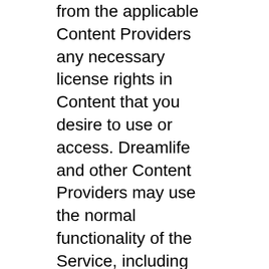from the applicable Content Providers any necessary license rights in Content that you desire to use or access. Dreamlife and other Content Providers may use the normal functionality of the Service, including an applicable permissions system and the copy, modify, and